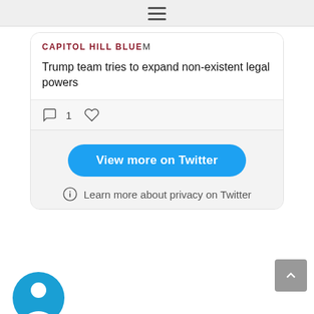[Figure (screenshot): Hamburger menu icon at top center of page]
CAPITOL HILL BLUEm
Trump team tries to expand non-existent legal powers
[Figure (infographic): Comment icon with count 1 and heart/like icon]
View more on Twitter
Learn more about privacy on Twitter
[Figure (logo): Partial circular logo at bottom left, blue background with white figure]